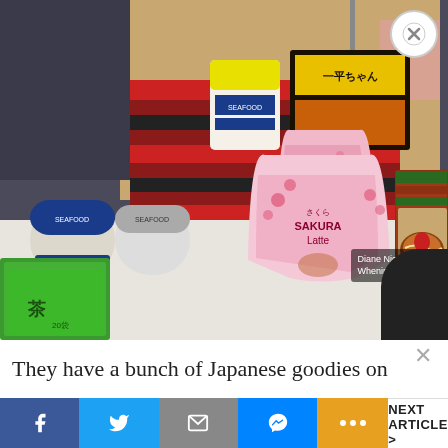[Figure (photo): A collection of Japanese food products displayed on a table: Nissin Seafood cup noodles, Big cup noodles, Ippeichan noodles box, green tea boxes, two Sakura Latte pouches (pink with cherry blossom designs), and a ramen box with 5 servings. A person in a striped shirt is visible in background. Watermark: Diane Nicole Go WheninManila.com with logo.]
They have a bunch of Japanese goodies on
NEXT ARTICLE >